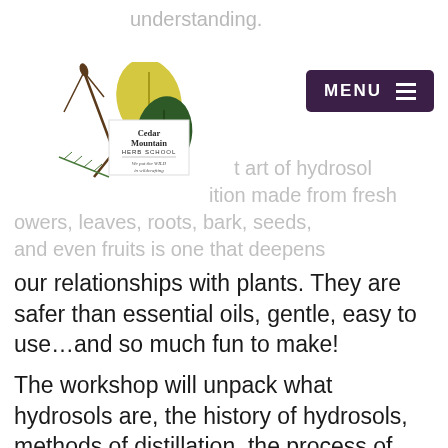Cedar Mountain HERB SCHOOL — We put the WILD in wildcrafting
understanding.
...t art of hydrosol...ition made from fresh...owers, leaves, roots, bark, seeds, and even fruits is one that deepens our relationships with plants. They are safer than essential oils, gentle, easy to use…and so much fun to make!
The workshop will unpack what hydrosols are, the history of hydrosols, methods of distillation, the process of preparing and operating a still, proper storage, and